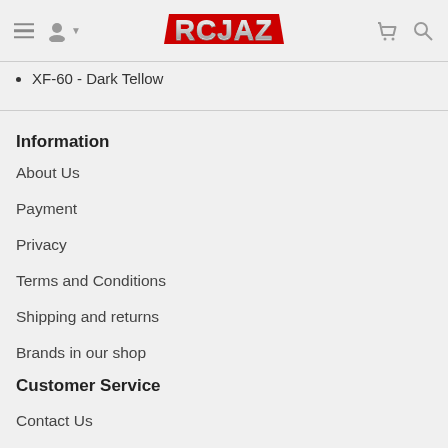RCJAZ header with navigation icons and logo
XF-60 - Dark Tellow
Information
About Us
Payment
Privacy
Terms and Conditions
Shipping and returns
Brands in our shop
Customer Service
Contact Us
FAQ
Wishlist FAQ
Order Mail Tracking
Wholesale Enquiry